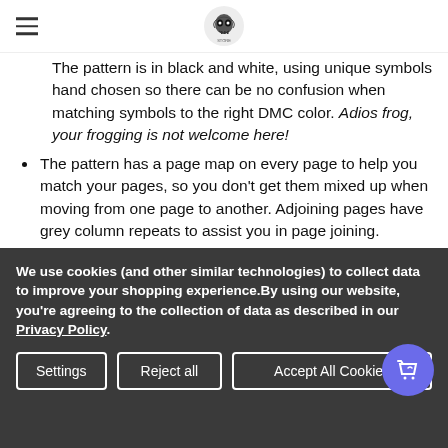[Skull logo / navigation header]
The pattern is in black and white, using unique symbols hand chosen so there can be no confusion when matching symbols to the right DMC color. Adios frog, your frogging is not welcome here!
The pattern has a page map on every page to help you match your pages, so you don't get them mixed up when moving from one page to another. Adjoining pages have grey column repeats to assist you in page joining. Begone evil frog!
The front cover is in color with the realistic estimated finished stitched result as well as dimensions in
We use cookies (and other similar technologies) to collect data to improve your shopping experience.By using our website, you're agreeing to the collection of data as described in our Privacy Policy.
Settings | Reject all | Accept All Cookies